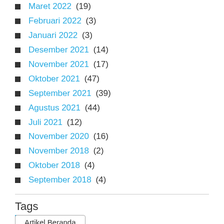Maret 2022 (19)
Februari 2022 (3)
Januari 2022 (3)
Desember 2021 (14)
November 2021 (17)
Oktober 2021 (47)
September 2021 (39)
Agustus 2021 (44)
Juli 2021 (12)
November 2020 (16)
November 2018 (2)
Oktober 2018 (4)
September 2018 (4)
Tags
Artikel Beranda